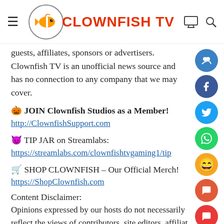CLOWNFISH TV
guests, affiliates, sponsors or advertisers. Clownfish TV is an unofficial news source and has no connection to any company that we may cover.
🎃 JOIN Clownfish Studios as a Member!
http://ClownfishSupport.com
😈 TIP JAR on Streamlabs:
https://streamlabs.com/clownfishtvgaming1/tip
🛒 SHOP CLOWNFISH – Our Official Merch!
https://ShopClownfish.com
Content Disclaimer:
Opinions expressed by our hosts do not necessarily reflect the views of contributors, site editors, affiliat